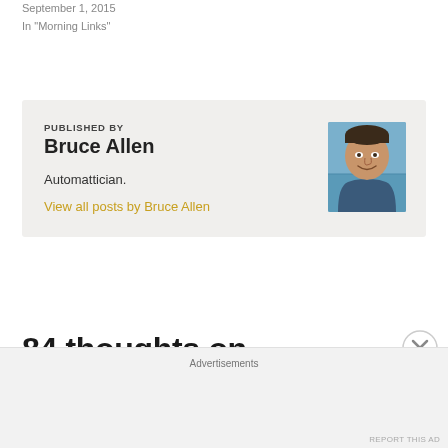September 1, 2015
In "Morning Links"
PUBLISHED BY
Bruce Allen
Automattician.
View all posts by Bruce Allen
[Figure (photo): Headshot photo of Bruce Allen, a man smiling with an ocean/sky background]
84 thoughts on “Discussion:
Advertisements
REPORT THIS AD